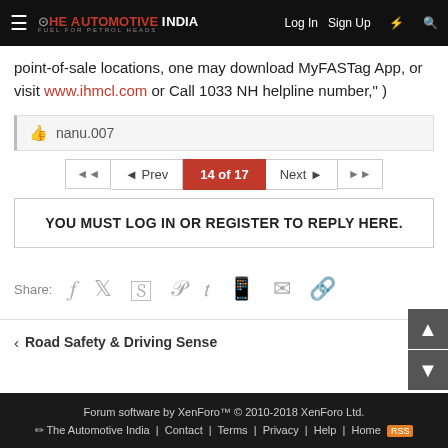HE AUTOMOTIVE INDIA | Log In | Sign Up
point-of-sale locations, one may download MyFASTag App, or visit www.ihmcl.com or Call 1033 NH helpline number," )
nanu.007
◄◄  ◄ Prev  14 of 17  Next ►  ►►
YOU MUST LOG IN OR REGISTER TO REPLY HERE.
Share:
< Road Safety & Driving Sense
Forum software by XenForo™ © 2010-2018 XenForo Ltd. | The Automotive India | Contact | Terms | Privacy | Help | Home